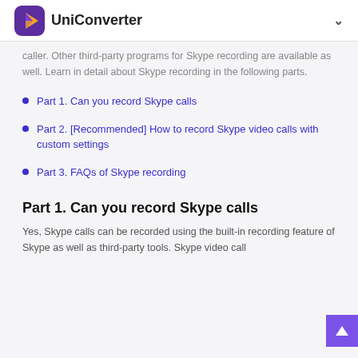UniConverter
caller. Other third-party programs for Skype recording are available as well. Learn in detail about Skype recording in the following parts.
Part 1. Can you record Skype calls
Part 2. [Recommended] How to record Skype video calls with custom settings
Part 3. FAQs of Skype recording
Part 1. Can you record Skype calls
Yes, Skype calls can be recorded using the built-in recording feature of Skype as well as third-party tools. Skype video call